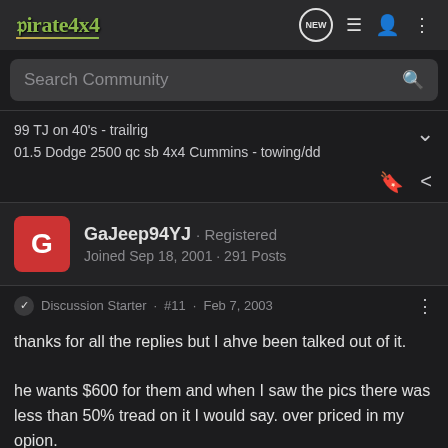Pirate4x4
Search Community
99 TJ on 40's - trailrig
01.5 Dodge 2500 qc sb 4x4 Cummins - towing/dd
GaJeep94YJ · Registered
Joined Sep 18, 2001 · 291 Posts
Discussion Starter · #11 · Feb 7, 2003
thanks for all the replies but I ahve been talked out of it.

he wants $600 for them and when I saw the pics there was less than 50% tread on it I would say. over priced in my opion.